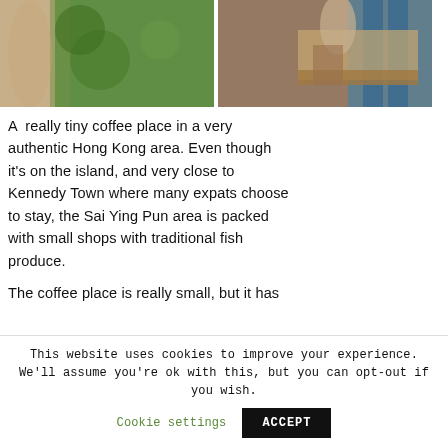[Figure (photo): Two photos side by side: left shows a person near a green plant wall; right shows a person standing near a blue wooden wall with a table in foreground]
A really tiny coffee place in a very authentic Hong Kong area. Even though it's on the island, and very close to Kennedy Town where many expats choose to stay, the Sai Ying Pun area is packed with small shops with traditional fish produce.
The coffee place is really small, but it has
This website uses cookies to improve your experience. We'll assume you're ok with this, but you can opt-out if you wish. Cookie settings ACCEPT